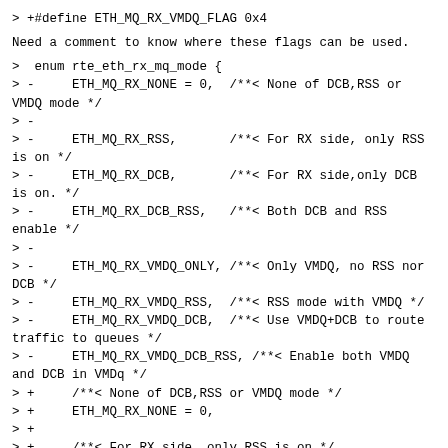> +#define ETH_MQ_RX_VMDQ_FLAG 0x4
Need a comment to know where these flags can be used.
>  enum rte_eth_rx_mq_mode {
> -     ETH_MQ_RX_NONE = 0,  /**< None of DCB,RSS or VMDQ mode */
> -
> -     ETH_MQ_RX_RSS,       /**< For RX side, only RSS is on */
> -     ETH_MQ_RX_DCB,       /**< For RX side,only DCB is on. */
> -     ETH_MQ_RX_DCB_RSS,   /**< Both DCB and RSS enable */
> -
> -     ETH_MQ_RX_VMDQ_ONLY, /**< Only VMDQ, no RSS nor DCB */
> -     ETH_MQ_RX_VMDQ_RSS,  /**< RSS mode with VMDQ */
> -     ETH_MQ_RX_VMDQ_DCB,  /**< Use VMDQ+DCB to route traffic to queues */
> -     ETH_MQ_RX_VMDQ_DCB_RSS, /**< Enable both VMDQ and DCB in VMDq */
> +     /**< None of DCB,RSS or VMDQ mode */
> +     ETH_MQ_RX_NONE = 0,
> +
> +     /**< For RX side, only RSS is on */
> +     ETH_MQ_RX_RSS = ETH_MQ_RX_RSS_FLAG,
> +     /**< For RX side,only DCB is on. */
> +     ETH_MQ_RX_DCB = ETH_MQ_RX_DCB_FLAG,
> +     /**< Both DCB and RSS enable */